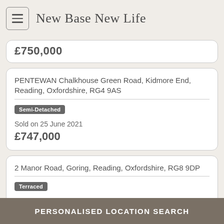New Base New Life
£750,000
PENTEWAN Chalkhouse Green Road, Kidmore End, Reading, Oxfordshire, RG4 9AS
Semi-Detached
Sold on 25 June 2021
£747,000
2 Manor Road, Goring, Reading, Oxfordshire, RG8 9DP
Terraced
PERSONALISED LOCATION SEARCH